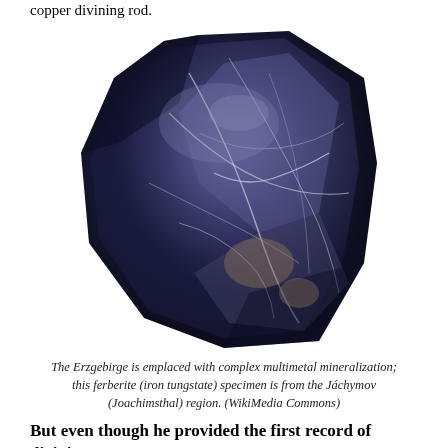copper divining rod.
[Figure (photo): A dark blue-black ferberite (iron tungstate) mineral specimen with crystalline cleavage faces and veining, shown against a white background. The rock is roughly octagonal in shape with a metallic sheen and white mineral veins running through it.]
The Erzgebirge is emplaced with complex multimetal mineralization; this ferberite (iron tungstate) specimen is from the Jáchymov (Joachimsthal) region. (WikiMedia Commons)
But even though he provided the first record of divining